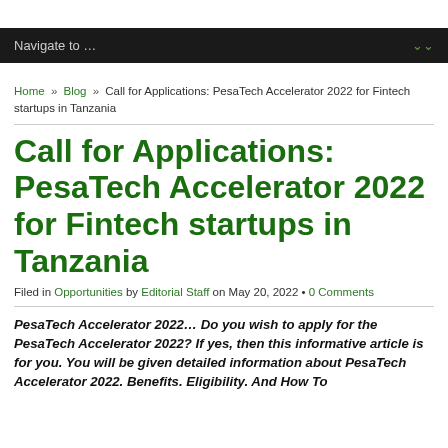Navigate to ...
Home » Blog » Call for Applications: PesaTech Accelerator 2022 for Fintech startups in Tanzania
Call for Applications: PesaTech Accelerator 2022 for Fintech startups in Tanzania
Filed in Opportunities by Editorial Staff on May 20, 2022 • 0 Comments
PesaTech Accelerator 2022… Do you wish to apply for the PesaTech Accelerator 2022? If yes, then this informative article is for you. You will be given detailed information about PesaTech Accelerator 2022. Benefits. Eligibility. And How To